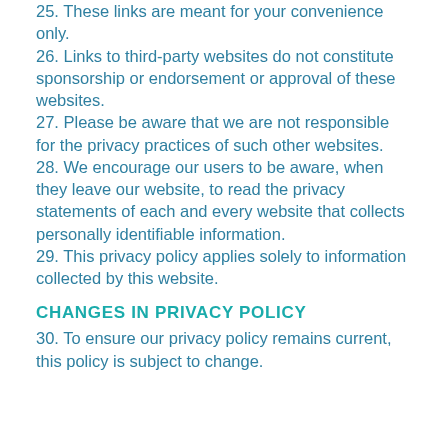25. These links are meant for your convenience only.
26. Links to third-party websites do not constitute sponsorship or endorsement or approval of these websites.
27. Please be aware that we are not responsible for the privacy practices of such other websites.
28. We encourage our users to be aware, when they leave our website, to read the privacy statements of each and every website that collects personally identifiable information.
29. This privacy policy applies solely to information collected by this website.
CHANGES IN PRIVACY POLICY
30. To ensure our privacy policy remains current, this policy is subject to change.